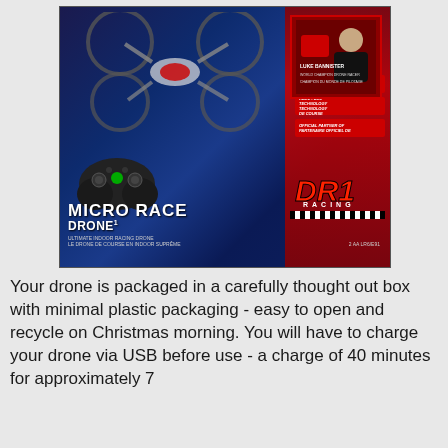[Figure (photo): Photo of a DR1 Racing Micro Race Drone product box. The box has a dark blue background with a drone depicted on the front, a red panel on the right side showing a person in racing gear, red feature stripes, DR1 Racing logo in large red italic letters, a black game controller at the bottom left, and text reading MICRO RACE DRONE with subtitle 'Ultimate indoor racing drone'. The box sits on what appears to be a blue/grey surface with wooden furniture visible in the background.]
Your drone is packaged in a carefully thought out box with minimal plastic packaging - easy to open and recycle on Christmas morning. You will have to charge your drone via USB before use - a charge of 40 minutes for approximately 7